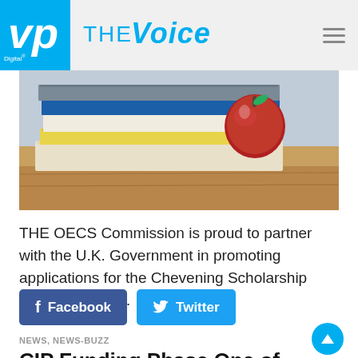VP Digital THE VOICE
[Figure (photo): Stack of books with a red apple on a wooden surface]
THE OECS Commission is proud to partner with the U.K. Government in promoting applications for the Chevening Scholarship Program. The ...
Facebook  Twitter
NEWS, NEWS-BUZZ
CIP Funding Phase One of DSH Development